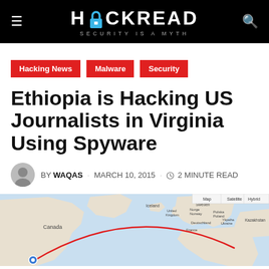HACKREAD — SECURITY IS A MYTH
Hacking News
Malware
Security
Ethiopia is Hacking US Journalists in Virginia Using Spyware
BY WAQAS · MARCH 10, 2015 · 2 MINUTE READ
[Figure (map): World map showing a red arc connecting North America (Virginia area) to Ethiopia/East Africa, illustrating the geographic span of the spyware hacking operation.]